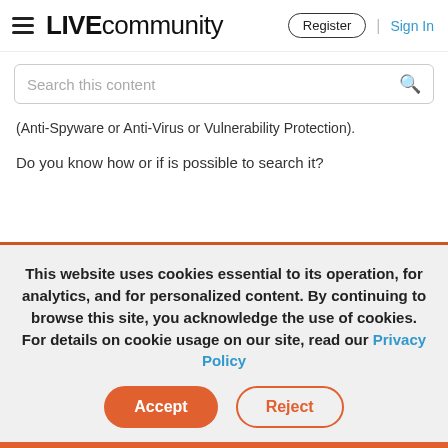LIVE community | Register | Sign In
Search this content
(Anti-Spyware or Anti-Virus or Vulnerability Protection).
Do you know how or if is possible to search it?
This website uses cookies essential to its operation, for analytics, and for personalized content. By continuing to browse this site, you acknowledge the use of cookies. For details on cookie usage on our site, read our Privacy Policy